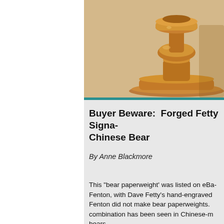[Figure (photo): Close-up photograph of a shiny copper/bronze candlestick or similar metalware object on a light background]
Buyer Beware:  Forged Fetty Signa- Chinese Bear
By Anne Blackmore
This "bear paperweight' was listed on eBa- Fenton, with Dave Fetty's hand-engraved Fenton did not make bear paperweights. combination has been seen in Chinese-m bears.